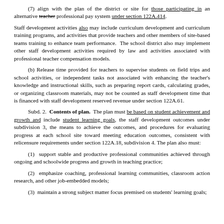(7) align with the plan of the district or site for those participating in an alternative teacher professional pay system under section 122A.414.
Staff development activities also may include curriculum development and curriculum training programs, and activities that provide teachers and other members of site-based teams training to enhance team performance. The school district also may implement other staff development activities required by law and activities associated with professional teacher compensation models.
(b) Release time provided for teachers to supervise students on field trips and school activities, or independent tasks not associated with enhancing the teacher's knowledge and instructional skills, such as preparing report cards, calculating grades, or organizing classroom materials, may not be counted as staff development time that is financed with staff development reserved revenue under section 122A.61.
Subd. 2. Contents of plan. The plan must be based on student achievement and growth and include student learning goals, the staff development outcomes under subdivision 3, the means to achieve the outcomes, and procedures for evaluating progress at each school site toward meeting education outcomes, consistent with relicensure requirements under section 122A.18, subdivision 4. The plan also must:
(1) support stable and productive professional communities achieved through ongoing and schoolwide progress and growth in teaching practice;
(2) emphasize coaching, professional learning communities, classroom action research, and other job-embedded models;
(3) maintain a strong subject matter focus premised on students' learning goals;